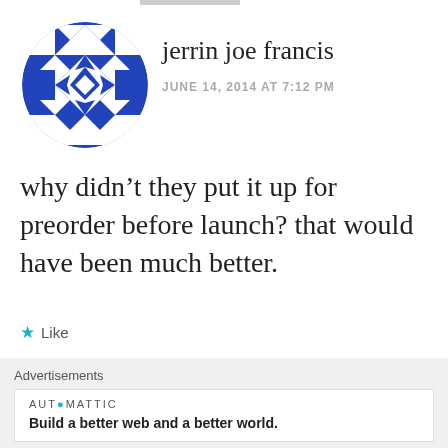[Figure (illustration): Blue geometric/kaleidoscope pattern avatar circle for user jerrin joe francis]
jerrin joe francis
JUNE 14, 2014 AT 7:12 PM
why didn't they put it up for preorder before launch? that would have been much better.
★ Like
REPLY
[Figure (illustration): Blue geometric pattern avatar partially visible for user Dibyendu Twipz]
Dibyendu Twipz
Advertisements
AUTOMATTIC
Build a better web and a better world.